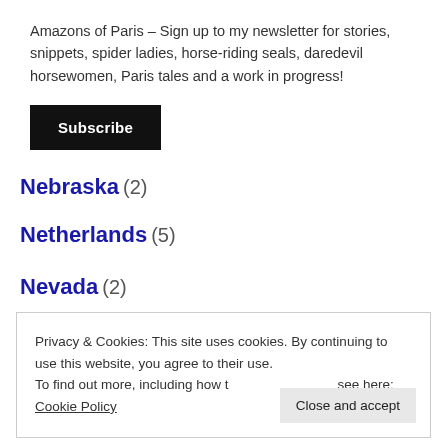Amazons of Paris – Sign up to my newsletter for stories, snippets, spider ladies, horse-riding seals, daredevil horsewomen, Paris tales and a work in progress!
Subscribe
Nebraska (2)
Netherlands (5)
Nevada (2)
New Forest Ponies (5)
Privacy & Cookies: This site uses cookies. By continuing to use this website, you agree to their use. To find out more, including how to control cookies, see here: Cookie Policy
Close and accept